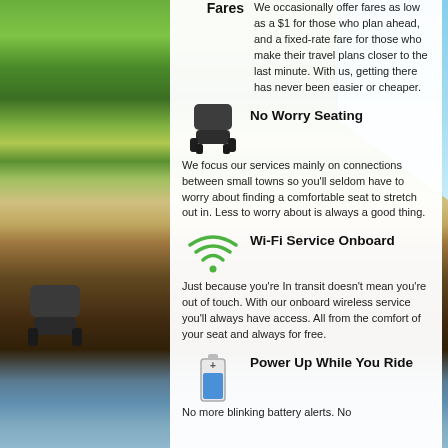Fares
We occasionally offer fares as low as a $1 for those who plan ahead, and a fixed-rate fare for those who make their travel plans closer to the last minute. With us, getting there has never been easier or cheaper.
[Figure (illustration): Bus seat / coach seat icon]
No Worry Seating
We focus our services mainly on connections between small towns so you'll seldom have to worry about finding a comfortable seat to stretch out in. Less to worry about is always a good thing.
[Figure (illustration): Wi-Fi signal icon in green]
Wi-Fi Service Onboard
Just because you're In transit doesn't mean you're out of touch. With our onboard wireless service you'll always have access. All from the comfort of your seat and always for free.
[Figure (illustration): Battery/power icon]
Power Up While You Ride
No more blinking battery alerts. No